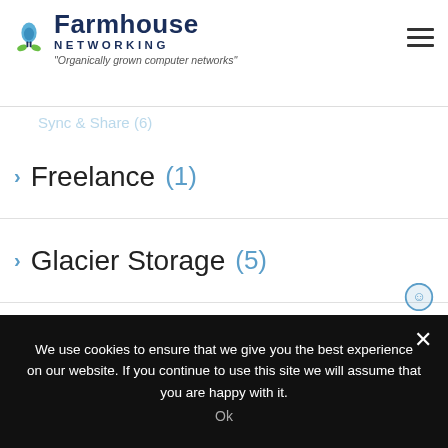Farmhouse Networking — Organically grown computer networks
Freelance (1)
Glacier Storage (5)
Gmail (4)
Google Android (8)
Google Apps (7)
Group Policy (13)
We use cookies to ensure that we give you the best experience on our website. If you continue to use this site we will assume that you are happy with it.